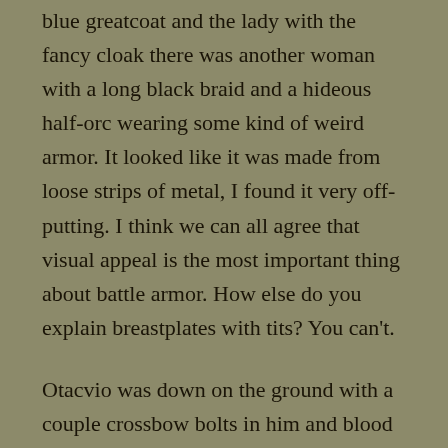blue greatcoat and the lady with the fancy cloak there was another woman with a long black braid and a hideous half-orc wearing some kind of weird armor.  It looked like it was made from loose strips of metal, I found it very off-putting.  I think we can all agree that visual appeal is the most important thing about battle armor.  How else do you explain breastplates with tits?  You can't.
Otacvio was down on the ground with a couple crossbow bolts in him and blood flowing out of him, Martialla was nowhere to be seen, Hardra, Tudos and Altos were kneeling with their hands behind their heads looking terrified.  Braids was covering them with a crossbow while the other three examined the coach as if there was a secret panel or something that I could be